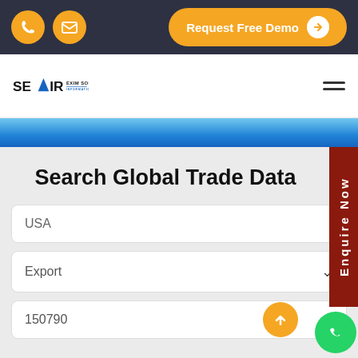[Figure (screenshot): Top navigation bar with phone and email icon buttons (yellow circles), and an orange 'Request Free Demo' button with arrow on dark navy background]
[Figure (logo): SEAIR EXIM SOLUTIONS logo - INFORMATION FOR BUSINESS tagline, blue triangle arrow between SE and IR letters]
Search Global Trade Data
USA
Export
150790